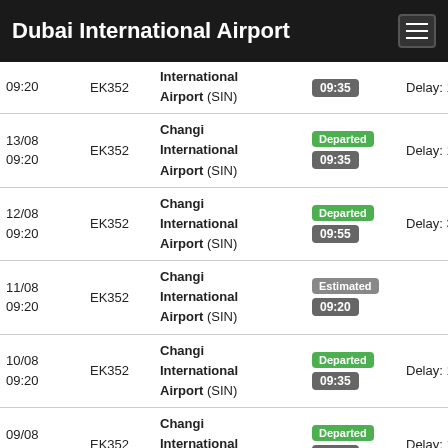Dubai International Airport
| Date | Flight | Destination | Status | Delay |
| --- | --- | --- | --- | --- |
| 09:20 | EK352 | International Airport (SIN) | 09:35 | Delay: 15mn |
| 13/08 09:20 | EK352 | Changi International Airport (SIN) | Departed 09:35 | Delay: 15mn |
| 12/08 09:20 | EK352 | Changi International Airport (SIN) | Departed 09:55 | Delay: 35mn |
| 11/08 09:20 | EK352 | Changi International Airport (SIN) | Estimated 09:20 |  |
| 10/08 09:20 | EK352 | Changi International Airport (SIN) | Departed 09:35 | Delay: 15mn |
| 09/08 09:20 | EK352 | Changi International Airport (SIN) | Departed 09:35 | Delay: 15mn |
| 08/08 09:20 | EK352 | Changi International Airport (SIN) | Departed 09:25 | Delay: 5mn |